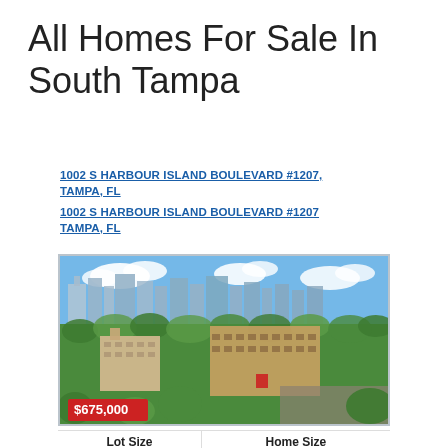All Homes For Sale In South Tampa
1002 S HARBOUR ISLAND BOULEVARD #1207, TAMPA, FL
1002 S HARBOUR ISLAND BOULEVARD #1207
TAMPA, FL
[Figure (photo): Aerial view of condominium complex with tall city buildings in background, lush green trees, and parking area. Price badge shows $675,000.]
| Lot Size | Home Size |
| --- | --- |
| N/A | 1,368 sqft |